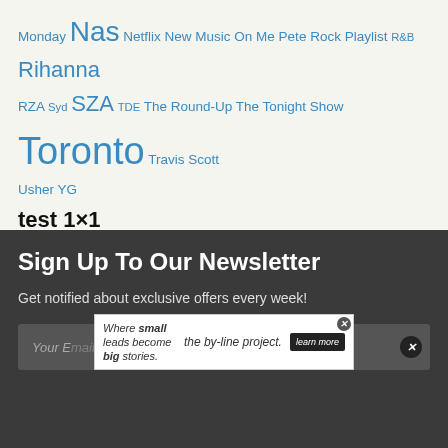Monday Nas Netflix New Music On Me Pete Rock Playlist R&B Rihanna RZA Syd SZA TDE The Round-Up The Tonight Show Toronto Travis Scott Usher YG
test 1×1
Sign Up To Our Newsletter
Get notified about exclusive offers every week!
Your E...